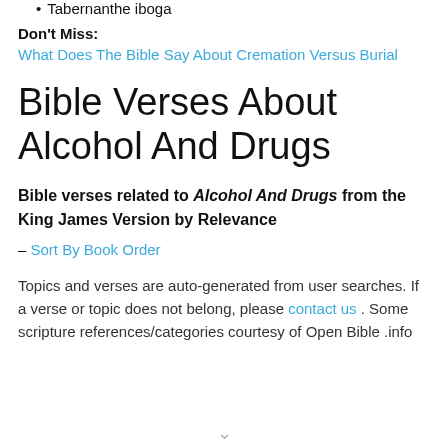Tabernanthe iboga
Don't Miss:
What Does The Bible Say About Cremation Versus Burial
Bible Verses About Alcohol And Drugs
Bible verses related to Alcohol And Drugs from the King James Version by Relevance
– Sort By Book Order
Topics and verses are auto-generated from user searches. If a verse or topic does not belong, please contact us . Some scripture references/categories courtesy of Open Bible .info